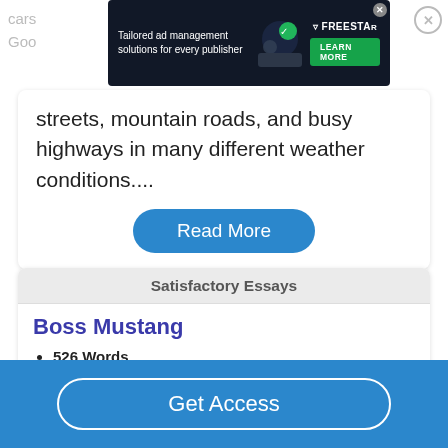[Figure (screenshot): Advertisement banner for Freestar ad management solutions with green Learn More button]
streets, mountain roads, and busy highways in many different weather conditions....
Read More
Satisfactory Essays
Boss Mustang
526 Words
2 Pages
Every magazine I¡¡ve looked at has rated this car
Get Access